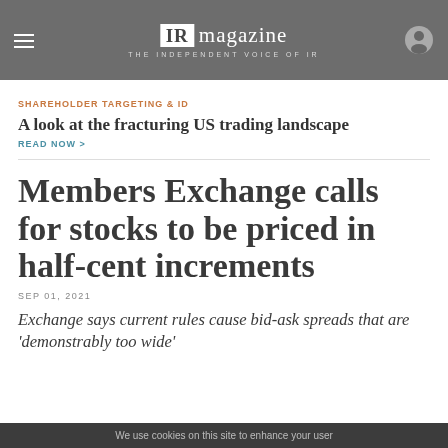IR magazine — THE INDEPENDENT VOICE OF IR
SHAREHOLDER TARGETING & ID
A look at the fracturing US trading landscape
READ NOW >
Members Exchange calls for stocks to be priced in half-cent increments
SEP 01, 2021
Exchange says current rules cause bid-ask spreads that are 'demonstrably too wide'
We use cookies on this site to enhance your user